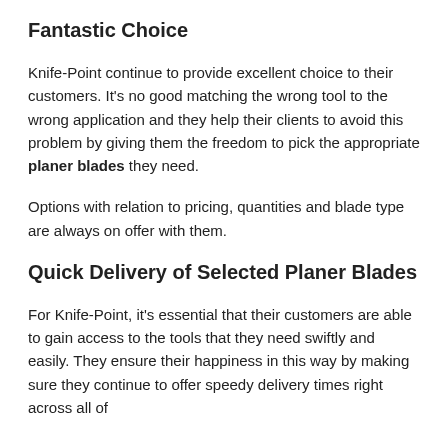Fantastic Choice
Knife-Point continue to provide excellent choice to their customers. It’s no good matching the wrong tool to the wrong application and they help their clients to avoid this problem by giving them the freedom to pick the appropriate planer blades they need.
Options with relation to pricing, quantities and blade type are always on offer with them.
Quick Delivery of Selected Planer Blades
For Knife-Point, it’s essential that their customers are able to gain access to the tools that they need swiftly and easily. They ensure their happiness in this way by making sure they continue to offer speedy delivery times right across all of